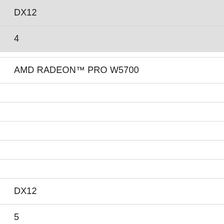DX12
4
AMD RADEON™ PRO W5700
DX12
5